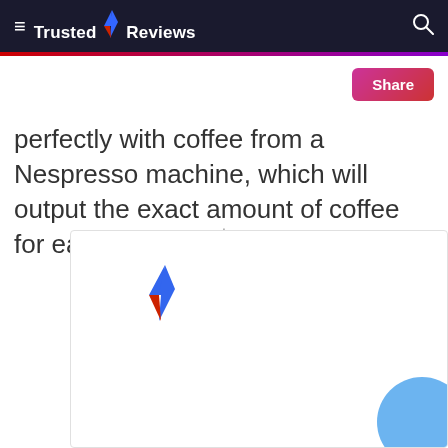Trusted Reviews
perfectly with coffee from a Nespresso machine, which will output the exact amount of coffee for each recipe.
[Figure (logo): Trusted Reviews logo with lightning bolt icon inside a rounded rectangle ad unit, with a blue circle in the bottom-right corner]